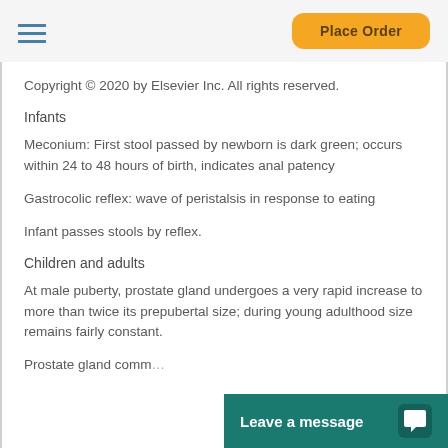Place Order
Copyright © 2020 by Elsevier Inc. All rights reserved.
Infants
Meconium: First stool passed by newborn is dark green; occurs within 24 to 48 hours of birth, indicates anal patency
Gastrocolic reflex: wave of peristalsis in response to eating
Infant passes stools by reflex.
Children and adults
At male puberty, prostate gland undergoes a very rapid increase to more than twice its prepubertal size; during young adulthood size remains fairly constant.
Prostate gland comm...